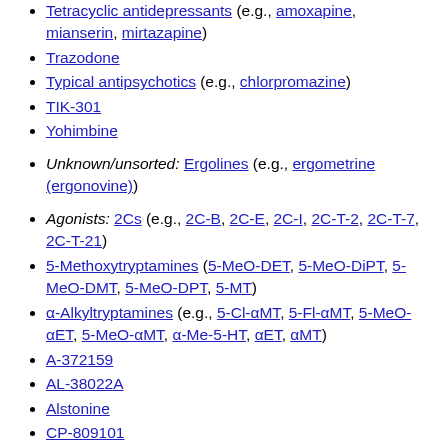Tetracyclic antidepressants (e.g., amoxapine, mianserin, mirtazapine)
Trazodone
Typical antipsychotics (e.g., chlorpromazine)
TIK-301
Yohimbine
Unknown/unsorted: Ergolines (e.g., ergometrine (ergonovine))
Agonists: 2Cs (e.g., 2C-B, 2C-E, 2C-I, 2C-T-2, 2C-T-7, 2C-T-21)
5-Methoxytryptamines (5-MeO-DET, 5-MeO-DiPT, 5-MeO-DMT, 5-MeO-DPT, 5-MT)
α-Alkyltryptamines (e.g., 5-Cl-αMT, 5-Fl-αMT, 5-MeO-αET, 5-MeO-αMT, α-Me-5-HT, αET, αMT)
A-372159
AL-38022A
Alstonine
CP-809101
Dimemebfe
DOx (e.g., DOB, DOC, DOI, DOM)
Ergolines (e.g., ALD-52, cabergoline, dihydroergotamine, ergine (LSA), ergotamine